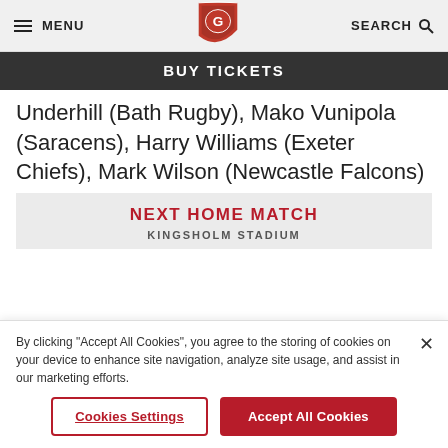MENU | Gloucester Rugby Logo | SEARCH
BUY TICKETS
Underhill (Bath Rugby), Mako Vunipola (Saracens), Harry Williams (Exeter Chiefs), Mark Wilson (Newcastle Falcons)
NEXT HOME MATCH
KINGSHOLM STADIUM
By clicking "Accept All Cookies", you agree to the storing of cookies on your device to enhance site navigation, analyze site usage, and assist in our marketing efforts.
Cookies Settings
Accept All Cookies